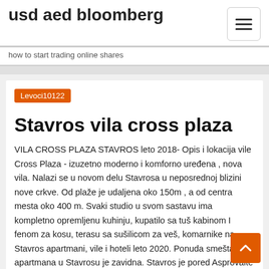usd aed bloomberg
how to start trading online shares
Levoci10122
Stavros vila cross plaza
VILA CROSS PLAZA STAVROS leto 2018- Opis i lokacija vile Cross Plaza - izuzetno moderno i komforno uređena , nova vila. Nalazi se u novom delu Stavrosa u neposrednoj blizini nove crkve. Od plaže je udaljena oko 150m , a od centra mesta oko 400 m. Svaki studio u svom sastavu ima kompletno opremljenu kuhinju, kupatilo sa tuš kabinom I fenom za kosu, terasu sa sušilicom za veš, komarnike na Stavros apartmani, vile i hoteli leto 2020. Ponuda smeštaja i apartmana u Stavrosu je zavidna. Stavros je pored Asprovalte i Nea Vrasne centar i stoga postoji dosta mogućnosti za komforan i udoban